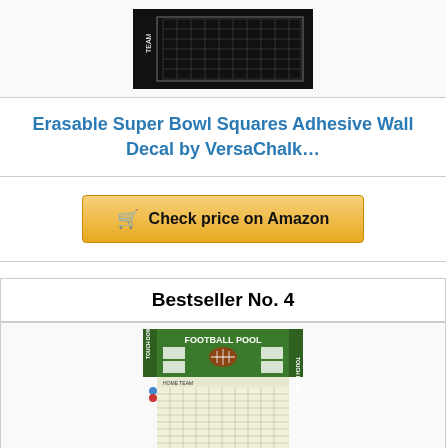[Figure (photo): Black wall decal showing a football squares grid with TEAM label on the side]
Erasable Super Bowl Squares Adhesive Wall Decal by VersaChalk…
Check price on Amazon
Bestseller No. 4
[Figure (photo): Football Pool grid card with green header showing FOOTBALL POOL and a football graphic, with a white 100-square grid below labeled HOME TEAM]